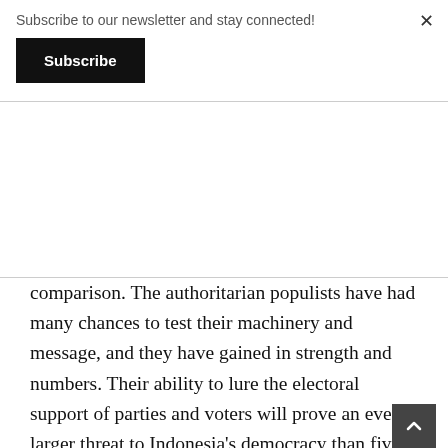Subscribe to our newsletter and stay connected!
Subscribe
×
comparison. The authoritarian populists have had many chances to test their machinery and message, and they have gained in strength and numbers. Their ability to lure the electoral support of parties and voters will prove an even larger threat to Indonesia's democracy than five years ago.
What is the antidote?
So what can realistically be done to prevent this